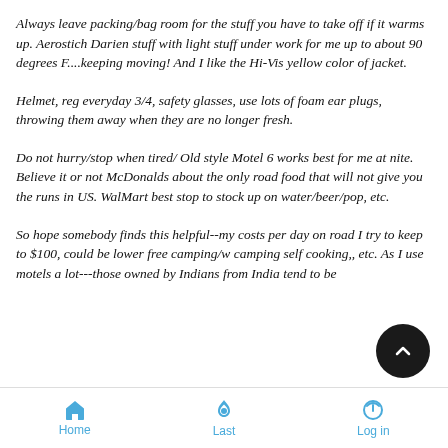Always leave packing/bag room for the stuff you have to take off if it warms up.  Aerostich Darien stuff with light stuff under work for me up to about 90 degrees F....keeping moving! And I like the Hi-Vis yellow color of jacket.
Helmet, reg everyday 3/4, safety glasses, use lots of foam ear plugs, throwing them away when they are no longer fresh.
Do not hurry/stop when tired/ Old style Motel 6 works best for me at nite.  Believe it or not McDonalds about the only road food that will not give you the runs in US.  WalMart best stop to stock up on water/beer/pop, etc.
So hope somebody finds this helpful--my costs per day on road I try to keep to $100, could be lower free camping/w camping self cooking,, etc.   As I use motels a lot---those owned by Indians from India tend to be
Home   Last   Log in